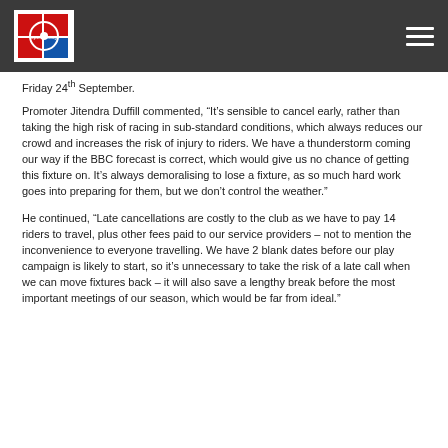Navigation header with logo and menu icon
Friday 24th September.
Promoter Jitendra Duffill commented, “It’s sensible to cancel early, rather than taking the high risk of racing in sub-standard conditions, which always reduces our crowd and increases the risk of injury to riders. We have a thunderstorm coming our way if the BBC forecast is correct, which would give us no chance of getting this fixture on. It’s always demoralising to lose a fixture, as so much hard work goes into preparing for them, but we don’t control the weather.”
He continued, “Late cancellations are costly to the club as we have to pay 14 riders to travel, plus other fees paid to our service providers – not to mention the inconvenience to everyone travelling. We have 2 blank dates before our play campaign is likely to start, so it’s unnecessary to take the risk of a late call when we can move fixtures back – it will also save a lengthy break before the most important meetings of our season, which would be far from ideal.”